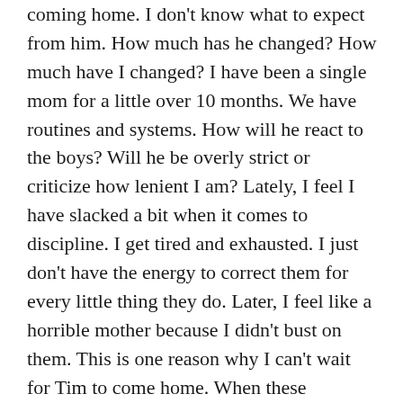coming home. I don't know what to expect from him. How much has he changed? How much have I changed? I have been a single mom for a little over 10 months. We have routines and systems. How will he react to the boys? Will he be overly strict or criticize how lenient I am? Lately, I feel I have slacked a bit when it comes to discipline. I get tired and exhausted. I just don't have the energy to correct them for every little thing they do. Later, I feel like a horrible mother because I didn't bust on them. This is one reason why I can't wait for Tim to come home. When these incidents arise, he can jump in and give me a break. We used to be partners in everything. (Though at times it didn't feel that way.) If I was tired or he was the other would jump in and take care of the boys. I am really scared about his reactions to how me and the boys act now verses how we used to act before he